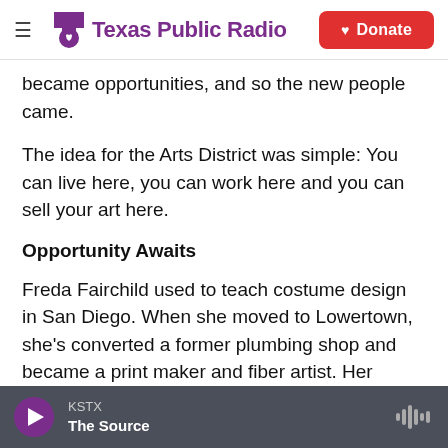Texas Public Radio | Donate
became opportunities, and so the new people came.
The idea for the Arts District was simple: You can live here, you can work here and you can sell your art here.
Opportunity Awaits
Freda Fairchild used to teach costume design in San Diego. When she moved to Lowertown, she's converted a former plumbing shop and became a print maker and fiber artist. Her studio epitomizes the...
KSTX | The Source